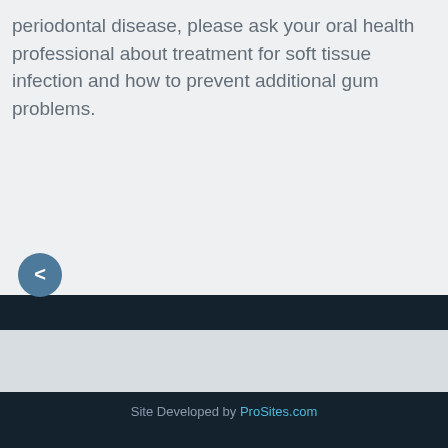periodontal disease, please ask your oral health professional about treatment for soft tissue infection and how to prevent additional gum problems.
[Figure (other): A circular navigation button (back arrow '<') in muted steel blue color]
Site Developed by ProSites.com